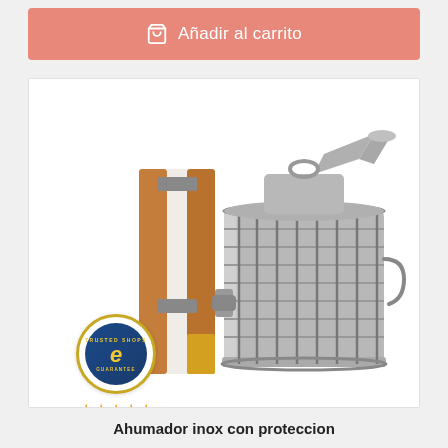Añadir al carrito
[Figure (photo): Stainless steel beehive smoker with wooden bellows and wire protection guard, shown on white background. A Trusted Shops guarantee badge is visible in the lower left corner with 4.87 star rating.]
Ahumador inox con proteccion